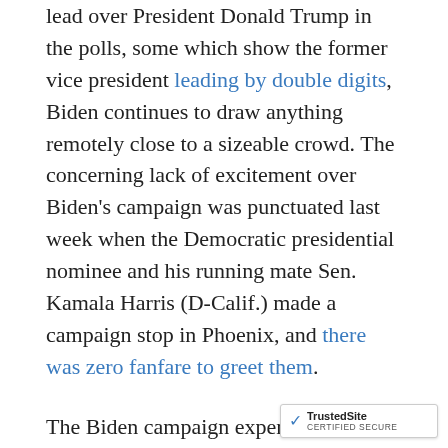lead over President Donald Trump in the polls, some which show the former vice president leading by double digits, Biden continues to draw anything remotely close to a sizeable crowd. The concerning lack of excitement over Biden’s campaign was punctuated last week when the Democratic presidential nominee and his running mate Sen. Kamala Harris (D-Calif.) made a campaign stop in Phoenix, and there was zero fanfare to greet them.
The Biden campaign experienced another dismal rally on Friday in Detroit, Michigan. Biden appeared at a “voter mobilization event” in Detroit at around 6:20 p.m. on Friday. This was a drive-in rally at the Michigan State Fairgrounds in Novi.
Video from the sparsely attended rally was sha...
[Figure (logo): TrustedSite CERTIFIED SECURE badge]